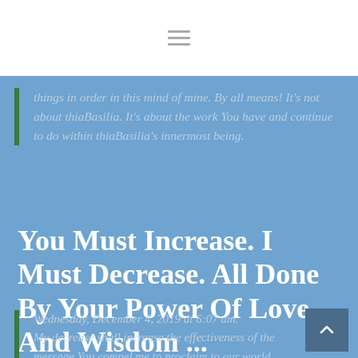[Figure (other): Hamburger menu icon (three horizontal lines) in white header bar]
things in order in this mind of mine. By all means! It's not about thiaBasilia. It's about the work You have and continue to do within thiaBasilia's innermost being.
You Must Increase. I Must Decrease. All Done By Your Power Of Love And Wisdom ...
Wednesday, December 4, 2019 at 6:07 am.
My decrease shall increase the effectiveness of the message You compel me to proclaim to our world.